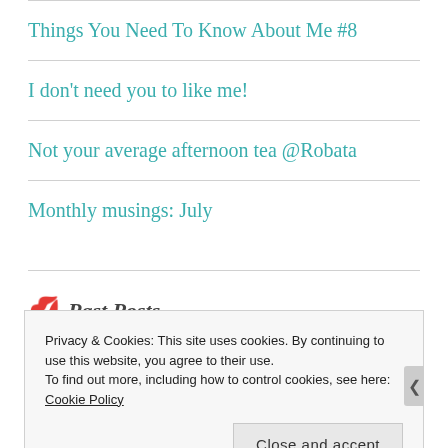Things You Need To Know About Me #8
I don't need you to like me!
Not your average afternoon tea @Robata
Monthly musings: July
Past Posts
Privacy & Cookies: This site uses cookies. By continuing to use this website, you agree to their use.
To find out more, including how to control cookies, see here: Cookie Policy
Close and accept